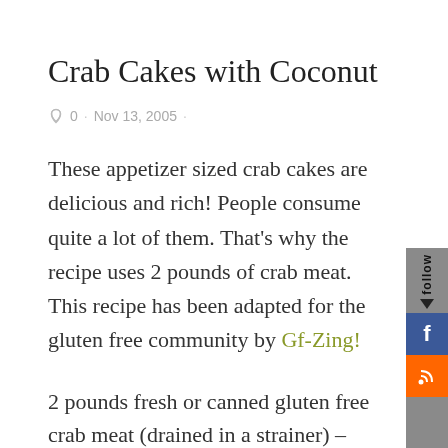Crab Cakes with Coconut
0  ·  Nov 13, 2005  ·
These appetizer sized crab cakes are delicious and rich! People consume quite a lot of them. That's why the recipe uses 2 pounds of crab meat. This recipe has been adapted for the gluten free community by Gf-Zing!
2 pounds fresh or canned gluten free crab meat (drained in a strainer) – about 1 quart
1 pound frozen grated fresh coconut (Asian grocery